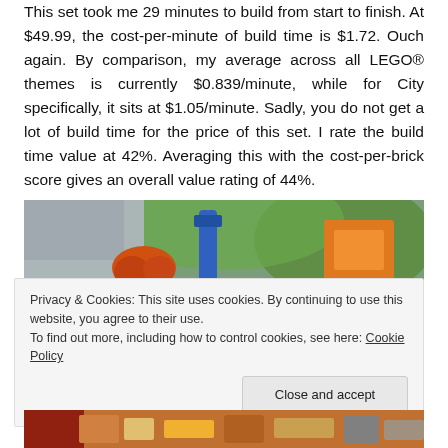This set took me 29 minutes to build from start to finish. At $49.99, the cost-per-minute of build time is $1.72. Ouch again. By comparison, my average across all LEGO® themes is currently $0.839/minute, while for City specifically, it sits at $1.05/minute. Sadly, you do not get a lot of build time for the price of this set. I rate the build time value at 42%. Averaging this with the cost-per-brick score gives an overall value rating of 44%.
[Figure (photo): Photo of LEGO minifigure with orange hair and LEGO construction set pieces in background, with green and orange LEGO elements visible]
Privacy & Cookies: This site uses cookies. By continuing to use this website, you agree to their use.
To find out more, including how to control cookies, see here: Cookie Policy
[Figure (photo): Partial photo of LEGO set pieces at bottom of page, partially obscured by cookie banner]